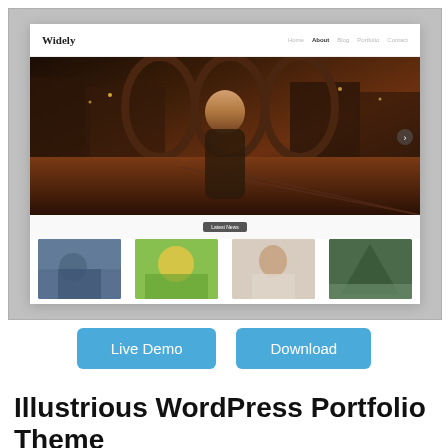[Figure (screenshot): Screenshot of a WordPress portfolio theme called 'Widely' showing a website mockup with a navigation bar (Home, About, Blog, Portfolio, Contact), a large hero image of a woman on a city street at night, a Latest News button, and four thumbnail images at the bottom.]
Live Demo
Download
Illustrious WordPress Portfolio Theme